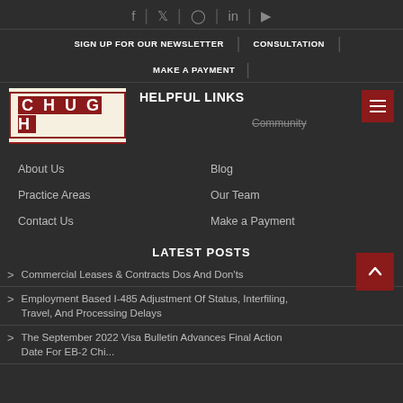f | 𝕏 | IG | in | ▶
SIGN UP FOR OUR NEWSLETTER | CONSULTATION
MAKE A PAYMENT
[Figure (logo): CHUGH law firm logo — white text on red background with cream border]
HELPFUL LINKS
Community
About Us
Blog
Practice Areas
Our Team
Contact Us
Make a Payment
LATEST POSTS
Commercial Leases & Contracts Dos And Don'ts
Employment Based I-485 Adjustment Of Status, Interfiling, Travel, And Processing Delays
The September 2022 Visa Bulletin Advances Final Action Date For EB-2 Chi...